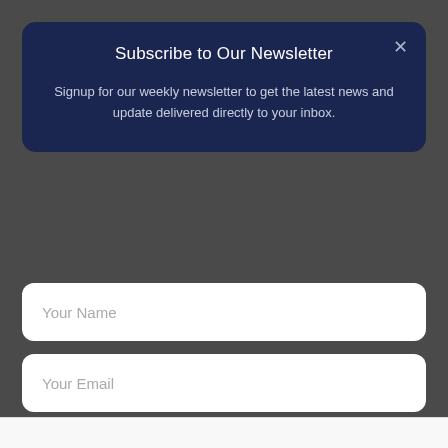Subscribe to Our Newsletter
Signup for our weekly newsletter to get the latest news and update delivered directly to your inbox.
Your Name
Your Email
Subscribe
⚡ by Convertful
INDUSTRY NEWS
Belk.com - Belk® - Official Site
Up To 40% Off Kids & Baby Apparel
www.belk.com